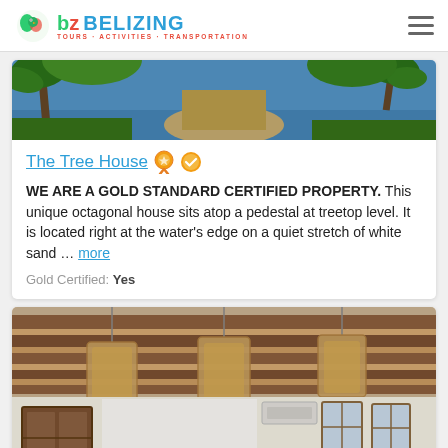BELIZING - TOURS · ACTIVITIES · TRANSPORTATION
[Figure (photo): Tropical beach scene with palm trees and water visible through a path, partial view at top]
The Tree House
WE ARE A GOLD STANDARD CERTIFIED PROPERTY. This unique octagonal house sits atop a pedestal at treetop level. It is located right at the water's edge on a quiet stretch of white sand ... more
Gold Certified: Yes
[Figure (photo): Interior of a tropical property showing wooden beam ceiling with pendant wicker lights, shuttered windows]